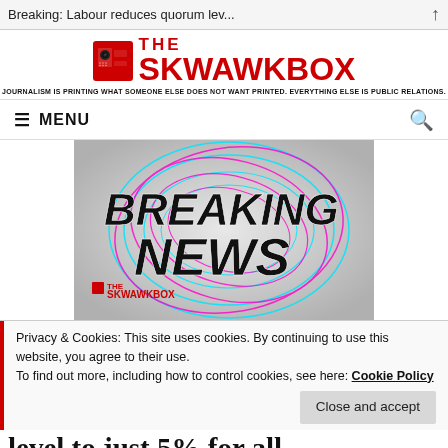Breaking: Labour reduces quorum lev...
[Figure (logo): The Skwawkbox logo with camera intercom image. Tagline: JOURNALISM IS PRINTING WHAT SOMEONE ELSE DOES NOT WANT PRINTED. EVERYTHING ELSE IS PUBLIC RELATIONS.]
MENU
[Figure (illustration): Breaking News graphic with radial swirl lines in cyan and magenta on grey background, bold black text 'BREAKING NEWS', The Skwawkbox logo in red bottom left]
Privacy & Cookies: This site uses cookies. By continuing to use this website, you agree to their use. To find out more, including how to control cookies, see here: Cookie Policy
Close and accept
level to just 5% for all CLP/branch...